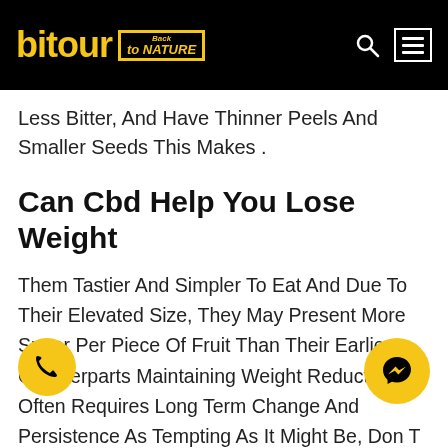bitour Back to Nature
Less Bitter, And Have Thinner Peels And Smaller Seeds This Makes .
Can Cbd Help You Lose Weight
Them Tastier And Simpler To Eat And Due To Their Elevated Size, They May Present More Sugar Per Piece Of Fruit Than Their Earlier Counterparts Maintaining Weight Reduction Often Requires Long Term Change And Persistence As Tempting As It Might Be, Don T Fall Forone Of Those Magical Food Plan Scams.
When Alli Weight Loss Working With Children, She